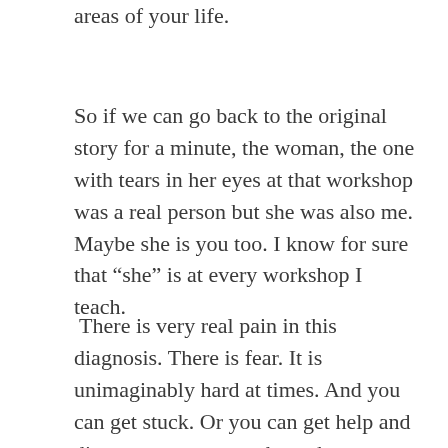areas of your life.
So if we can go back to the original story for a minute, the woman, the one with tears in her eyes at that workshop was a real person but she was also me. Maybe she is you too. I know for sure that “she” is at every workshop I teach.
There is very real pain in this diagnosis. There is fear. It is unimaginably hard at times. And you can get stuck. Or you can get help and discover ways to get through